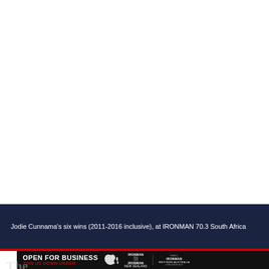[Figure (photo): Large white/blank photograph area taking up the top portion of the page]
Jodie Cunnama's six wins (2011-2016 inclusive), at IRONMAN 70.3 South Africa
[Figure (infographic): Advertisement banner: OPEN FOR BUSINESS / JOIN US DOWN UNDER with Australia and New Zealand map icons and IRONMAN New Zealand and IRONMAN Western Australia logos on dark background]
The